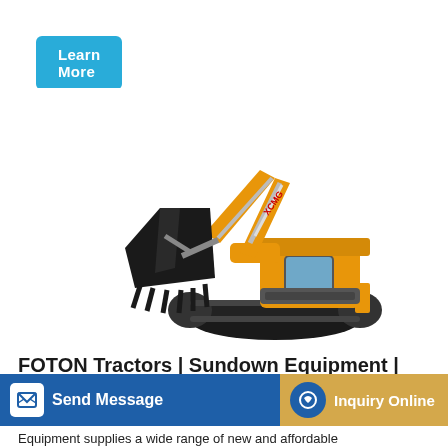Learn More
[Figure (photo): Yellow XCMG hydraulic excavator with a large bucket attachment on the front arm, shown on a white background. The excavator has black tracks and an orange/yellow body.]
FOTON Tractors | Sundown Equipment | Des Moines, Iowa
Send Message
Inquiry Online
Equipment supplies a wide range of new and affordable